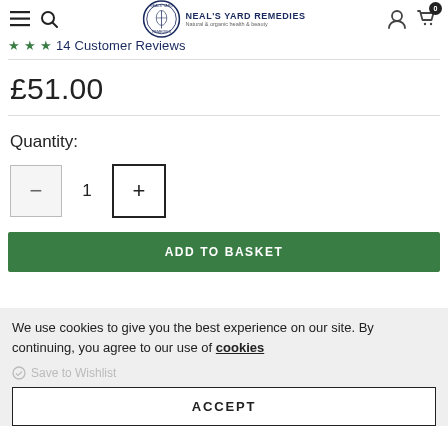Neal's Yard Remedies — Natural & organic health & beauty
14 Customer Reviews
£51.00
Quantity:
— 1 +
ADD TO BASKET
We use cookies to give you the best experience on our site. By continuing, you agree to our use of cookies
Save to Wishlist
ACCEPT